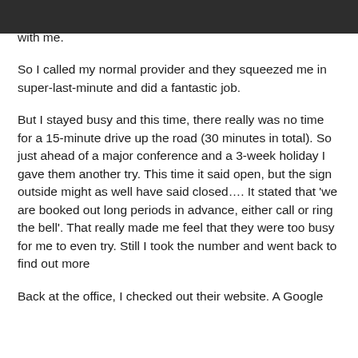with me.
So I called my normal provider and they squeezed me in super-last-minute and did a fantastic job.
But I stayed busy and this time, there really was no time for a 15-minute drive up the road (30 minutes in total). So just ahead of a major conference and a 3-week holiday I gave them another try. This time it said open, but the sign outside might as well have said closed…. It stated that ‘we are booked out long periods in advance, either call or ring the bell’. That really made me feel that they were too busy for me to even try. Still I took the number and went back to find out more
Back at the office, I checked out their website. A Google